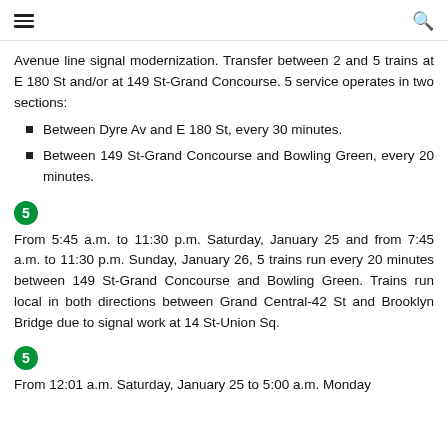≡  🔍
Avenue line signal modernization. Transfer between 2 and 5 trains at E 180 St and/or at 149 St-Grand Concourse. 5 service operates in two sections:
Between Dyre Av and E 180 St, every 30 minutes.
Between 149 St-Grand Concourse and Bowling Green, every 20 minutes.
5
From 5:45 a.m. to 11:30 p.m. Saturday, January 25 and from 7:45 a.m. to 11:30 p.m. Sunday, January 26, 5 trains run every 20 minutes between 149 St-Grand Concourse and Bowling Green. Trains run local in both directions between Grand Central-42 St and Brooklyn Bridge due to signal work at 14 St-Union Sq.
5
From 12:01 a.m. Saturday, January 25 to 5:00 a.m. Monday